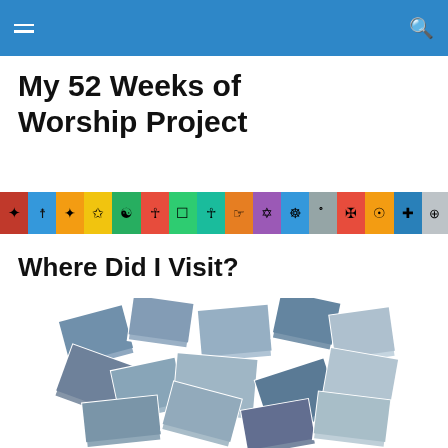My 52 Weeks of Worship Project
[Figure (illustration): A horizontal strip of colorful square tiles each containing a religious symbol, representing various world religions and belief systems]
Where Did I Visit?
[Figure (photo): A large collage of overlapping scattered photographs showing various houses of worship and religious buildings visited during the 52 weeks project]